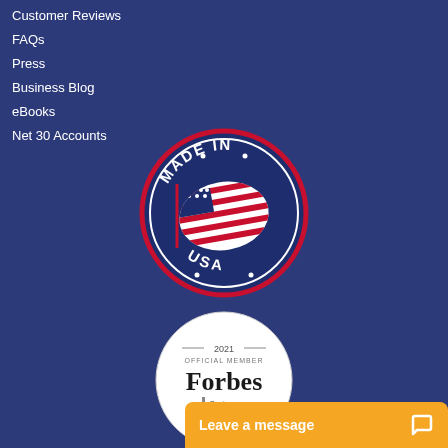Customer Reviews
FAQs
Press
Business Blog
eBooks
Net 30 Accounts
[Figure (logo): Made in USA badge with American flag, circular stamp design with red and navy colors]
[Figure (logo): Forbes Business Development Council 2021 Official Member badge, circular white design]
Leave a message